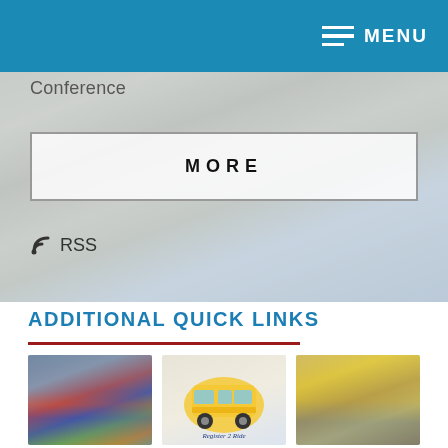MENU
Conference
MORE
RSS
ADDITIONAL QUICK LINKS
[Figure (photo): Three thumbnail images: children boarding school bus, school bus illustration with Register2Ride logo, students walking near yellow school bus]